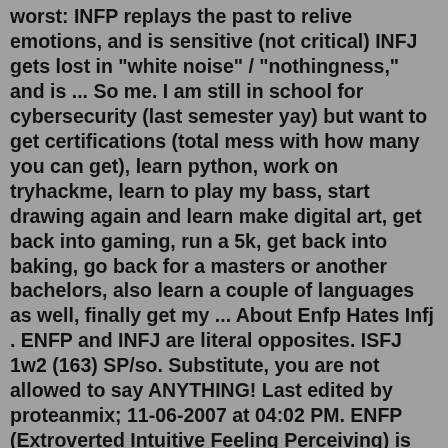worst: INFP replays the past to relive emotions, and is sensitive (not critical) INFJ gets lost in "white noise" / "nothingness," and is ... So me. I am still in school for cybersecurity (last semester yay) but want to get certifications (total mess with how many you can get), learn python, work on tryhackme, learn to play my bass, start drawing again and learn make digital art, get back into gaming, run a 5k, get back into baking, go back for a masters or another bachelors, also learn a couple of languages as well, finally get my ... About Enfp Hates Infj . ENFP and INFJ are literal opposites. ISFJ 1w2 (163) SP/so. Substitute, you are not allowed to say ANYTHING! Last edited by proteanmix; 11-06-2007 at 04:02 PM. ENFP (Extroverted Intuitive Feeling Perceiving) is one of the sixteen personality types of the Myers-Briggs Type Indicator (MBTI) psychological test.The most common reason INFJs cite for abandoning a religion is hypocrisy. Actually, it's a common reason for leaving churches regardless of your personality type. For INFJs in particular, hypocrisy triggers our